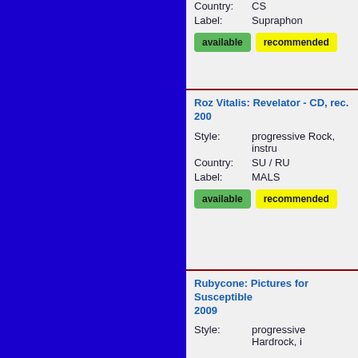Country: CS
Label: Supraphon
available
recommended
Roz Vitalis: Revelator - CD, rec. 200...
Style: progressive Rock, instru...
Country: SU / RU
Label: MALS
available
recommended
Rubycone: Pictures for Susceptible... 2009
Style: progressive Hardrock, i...